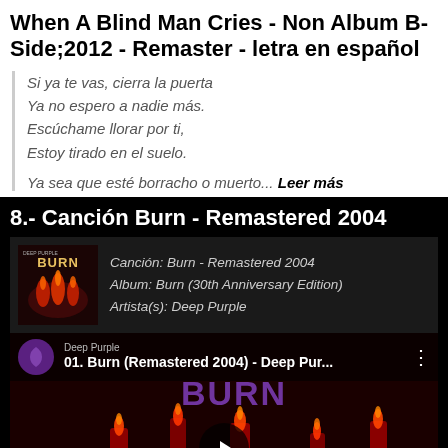When A Blind Man Cries - Non Album B-Side;2012 - Remaster - letra en español
Si ya te vas, cierra la puerta
Ya no espero a nadie más.
Escúchame llorar por ti,
Estoy tirado en el suelo.
Ya sea que esté borracho o muerto... Leer más
8.- Canción Burn - Remastered 2004
Canción: Burn - Remastered 2004
Album: Burn (30th Anniversary Edition)
Artista(s): Deep Purple
[Figure (screenshot): YouTube video thumbnail for '01. Burn (Remastered 2004) - Deep Pur...' by Deep Purple, showing candles with red flames on a dark background and the word BURN in stylized text, with a play button overlay.]